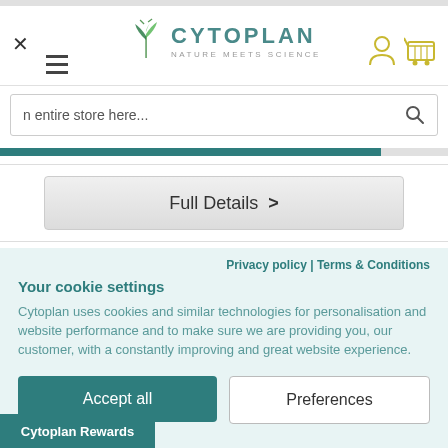[Figure (screenshot): Cytoplan website header with logo, hamburger menu, close button, user and cart icons]
n entire store here...
[Figure (other): Full Details > button with progress bar above]
Privacy policy | Terms & Conditions
Your cookie settings
Cytoplan uses cookies and similar technologies for personalisation and website performance and to make sure we are providing you, our customer, with a constantly improving and great website experience.
Accept all
Preferences
Cytoplan Rewards